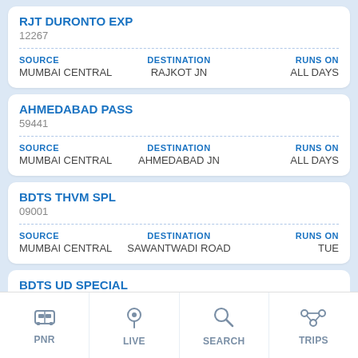RJT DURONTO EXP
12267
SOURCE: MUMBAI CENTRAL | DESTINATION: RAJKOT JN | RUNS ON: ALL DAYS
AHMEDABAD PASS
59441
SOURCE: MUMBAI CENTRAL | DESTINATION: AHMEDABAD JN | RUNS ON: ALL DAYS
BDTS THVM SPL
09001
SOURCE: MUMBAI CENTRAL | DESTINATION: SAWANTWADI ROAD | RUNS ON: TUE
BDTS UD SPECIAL
09009
SOURCE: MUMBAI CENTRAL | DESTINATION: NEW DELHI | RUNS ON: FRI
[Figure (screenshot): Bottom navigation bar with four items: PNR (train icon), LIVE (location pin icon), SEARCH (magnifier icon), TRIPS (route/map icon)]